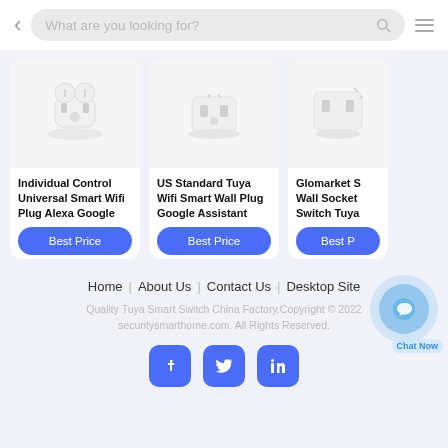[Figure (screenshot): Mobile website screenshot showing a search bar at top, product cards for smart wifi plugs, and a footer with navigation links and social icons]
Individual Control Universal Smart Wifi Plug Alexa Google
US Standard Tuya Wifi Smart Wall Plug Google Assistant
Glomarket S Wall Socket Switch Tuya
Best Price
Best Price
Best P
Home | About Us | Contact Us | Desktop Site
Quality Tuya Smart Switch China Factory.Copyright © 2022 securitysmarthome.com. All Rights Reserved.